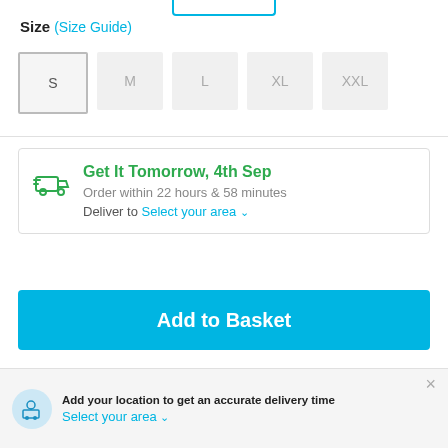[Figure (screenshot): Partial top element - teal/cyan bordered box partially visible at top]
Size (Size Guide)
[Figure (screenshot): Size selector buttons: S (selected), M, L, XL, XXL — shown as grey rectangular buttons]
[Figure (infographic): Delivery information box with truck icon: 'Get It Tomorrow, 4th Sep', 'Order within 22 hours & 58 minutes', 'Deliver to Select your area']
Get It Tomorrow, 4th Sep
Order within 22 hours & 58 minutes
Deliver to Select your area
[Figure (screenshot): Add to Basket button — large cyan/teal button]
Add to Basket
[Figure (screenshot): Payment method icons row: PayPal, Visa, Mastercard, Cash on Delivery, partially visible last icon]
Add your location to get an accurate delivery time
Select your area
Click & Collect
Order this product now and collect from a store...